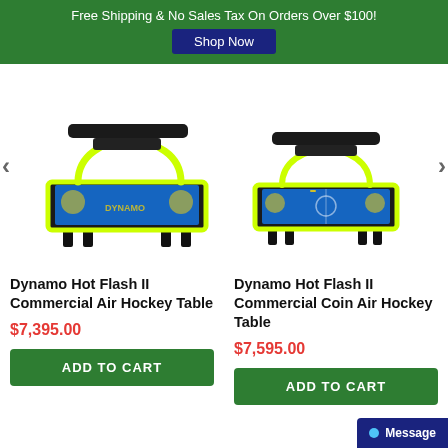Free Shipping & No Sales Tax On Orders Over $100!
Shop Now
[Figure (photo): Dynamo Hot Flash II Commercial Air Hockey Table – blue and neon yellow/green arcade air hockey table shown from a front-angle view with overhead scoring display]
[Figure (photo): Dynamo Hot Flash II Commercial Coin Air Hockey Table – blue and neon yellow/green arcade air hockey table shown from a front-angle view with overhead scoring display]
Dynamo Hot Flash II Commercial Air Hockey Table
$7,395.00
ADD TO CART
Dynamo Hot Flash II Commercial Coin Air Hockey Table
$7,595.00
ADD TO CART